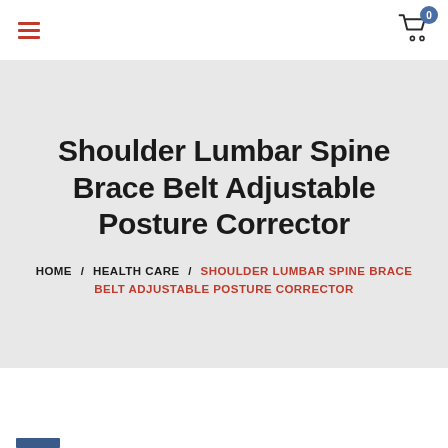Navigation header with hamburger menu and shopping cart icon showing 0 items
Shoulder Lumbar Spine Brace Belt Adjustable Posture Corrector
HOME / HEALTH CARE / SHOULDER LUMBAR SPINE BRACE BELT ADJUSTABLE POSTURE CORRECTOR